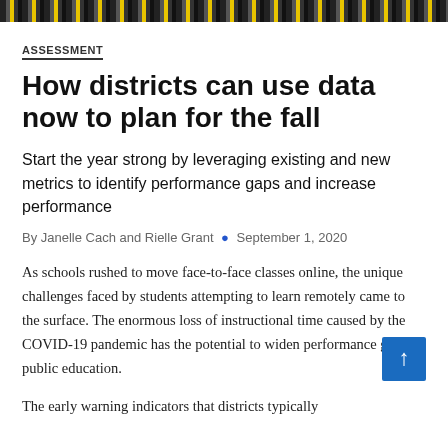[Figure (other): Decorative header bar with repeating icon/pattern strip at the top of the page]
ASSESSMENT
How districts can use data now to plan for the fall
Start the year strong by leveraging existing and new metrics to identify performance gaps and increase performance
By Janelle Cach and Rielle Grant • September 1, 2020
As schools rushed to move face-to-face classes online, the unique challenges faced by students attempting to learn remotely came to the surface. The enormous loss of instructional time caused by the COVID-19 pandemic has the potential to widen performance gaps in public education.
The early warning indicators that districts typically